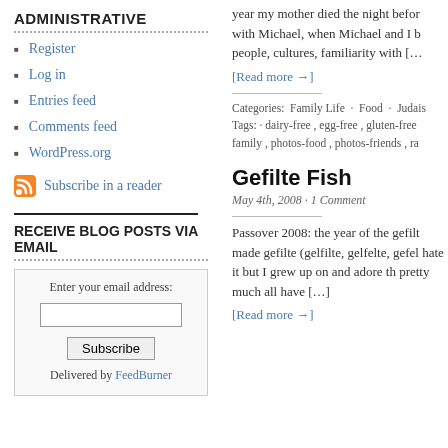ADMINISTRATIVE
Register
Log in
Entries feed
Comments feed
WordPress.org
Subscribe in a reader
RECEIVE BLOG POSTS VIA EMAIL
Enter your email address: [input] Subscribe Delivered by FeedBurner
year my mother died the night befor with Michael, when Michael and I b people, cultures, familiarity with […
[Read more →]
Categories: Family Life · Food · Judais Tags: · dairy-free , egg-free , gluten-free family , photos-food , photos-friends , ra
Gefilte Fish
May 4th, 2008 · 1 Comment
Passover 2008: the year of the gefilt made gefilte (gelfilte, gelfelte, gefel hate it but I grew up on and adore th pretty much all have […]
[Read more →]